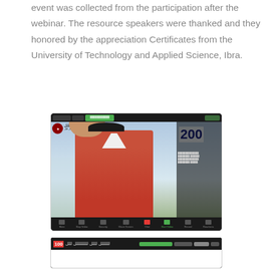event was collected from the participation after the webinar. The resource speakers were thanked and they honored by the appreciation Certificates from the University of Technology and Applied Science, Ibra.
[Figure (screenshot): A screenshot of a video conference (Zoom) showing a man in a red polo shirt, with a presentation slide visible in the background containing text in Spanish including 'de' and '200', along with a university logo. The Zoom toolbar is visible at the bottom.]
[Figure (screenshot): A partial screenshot of another video conference or webinar session showing a dark toolbar at the top with a logo and a green highlighted name bar, and a white content area below.]